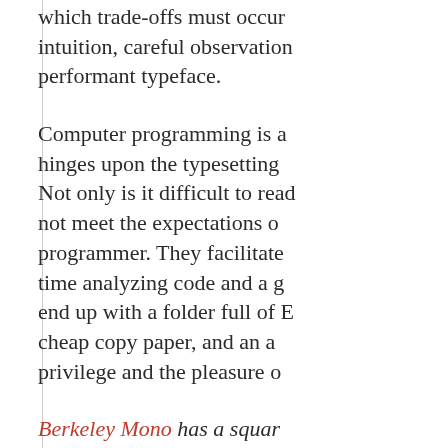which trade-offs must occur… intuition, careful observation… performant typeface.
Computer programming is a… hinges upon the typesetting… Not only is it difficult to read… not meet the expectations o… programmer. They facilitate… time analyzing code and a g… end up with a folder full of E… cheap copy paper, and an a… privilege and the pleasure o…
Berkeley Mono has a squar… Sans Mono, that makes it re… any other computer fonts wh…
The squareness was inspire… staple of technical applicatio… manuals, Eurostile is used i… and horizontal contrast. The… human legibility for machine… information on a document t…